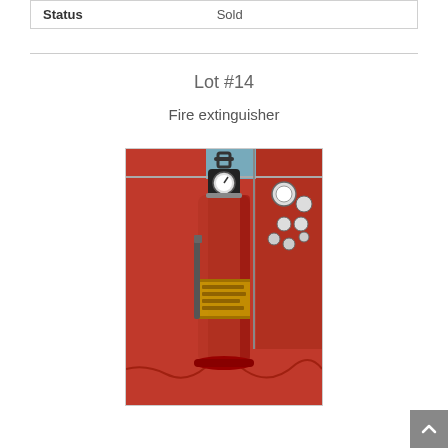| Status | Sold |
| --- | --- |
Lot #14
Fire extinguisher
[Figure (photo): A vintage red fire extinguisher with a pressure gauge on top and a carrying handle, displayed against a red background with gauges and controls visible to the right.]